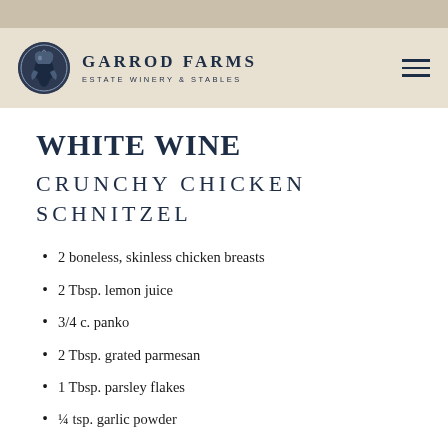GARROD FARMS ESTATE WINERY & STABLES
WHITE WINE
CRUNCHY CHICKEN SCHNITZEL
2 boneless, skinless chicken breasts
2 Tbsp. lemon juice
3/4 c. panko
2 Tbsp. grated parmesan
1 Tbsp. parsley flakes
¼ tsp. garlic powder